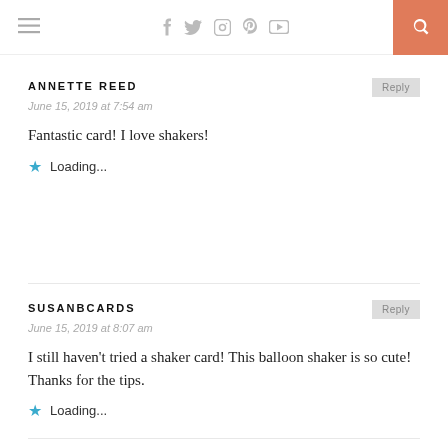Navigation bar with hamburger menu, social icons (Facebook, Twitter, Instagram, Pinterest, YouTube), and search button
ANNETTE REED
June 15, 2019 at 7:54 am
Fantastic card! I love shakers!
Loading...
SUSANBCARDS
June 15, 2019 at 8:07 am
I still haven't tried a shaker card! This balloon shaker is so cute! Thanks for the tips.
Loading...